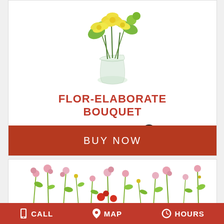[Figure (photo): Yellow lily and green flower bouquet in a glass vase, shown from front]
FLOR-ELABORATE BOUQUET
Shown at $65.00
BUY NOW
[Figure (illustration): Pink and green wildflower illustration, partially visible at bottom of page]
CALL  MAP  HOURS